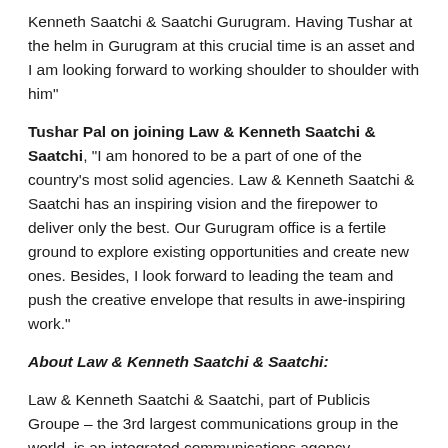Kenneth Saatchi & Saatchi Gurugram. Having Tushar at the helm in Gurugram at this crucial time is an asset and I am looking forward to working shoulder to shoulder with him"
Tushar Pal on joining Law & Kenneth Saatchi & Saatchi, "I am honored to be a part of one of the country's most solid agencies. Law & Kenneth Saatchi & Saatchi has an inspiring vision and the firepower to deliver only the best. Our Gurugram office is a fertile ground to explore existing opportunities and create new ones. Besides, I look forward to leading the team and push the creative envelope that results in awe-inspiring work."
About Law & Kenneth Saatchi & Saatchi:
Law & Kenneth Saatchi & Saatchi, part of Publicis Groupe – the 3rd largest communications group in the world, is an integrated communications agency headquartered in Mumbai with offices in Delhi & Kolkata. With over 360 employees, L&K Saatchi & Saatchi is a full-service communications agency that specialises in strategic